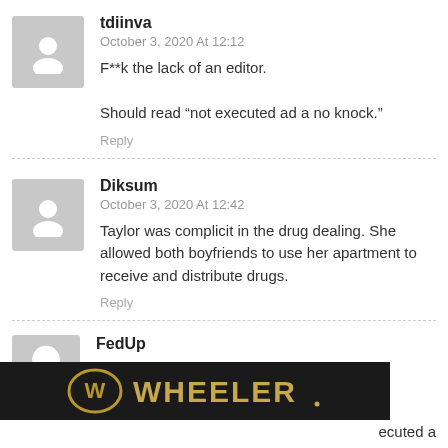tdiinva
October 3, 2020 At 12:12
F**k the lack of an editor.

Should read “not executed ad a no knock.”
Reply
Diksum
October 3, 2020 At 12:42
Taylor was complicit in the drug dealing. She allowed both boyfriends to use her apartment to receive and distribute drugs.
Reply
FedUp
[Figure (logo): Wheeler logo on black background bar ad overlay at bottom of page]